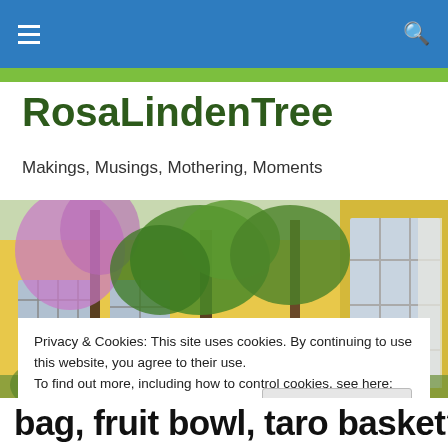RosaLindenTree — navigation bar with hamburger menu and search icon
RosaLindenTree
Makings, Musings, Mothering, Moments
[Figure (photo): Photo of a yellow building facade with trees and purple wisteria flowers in the foreground]
Privacy & Cookies: This site uses cookies. By continuing to use this website, you agree to their use.
To find out more, including how to control cookies, see here: Cookie Policy
Close and accept
bag, fruit bowl, taro basket?